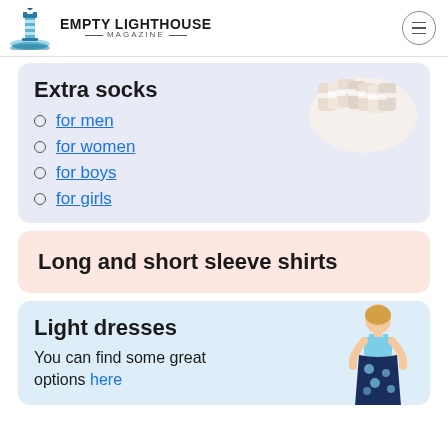EMPTY LIGHTHOUSE MAGAZINE
Extra socks
for men
for women
for boys
for girls
Long and short sleeve shirts
Light dresses
You can find some great options here